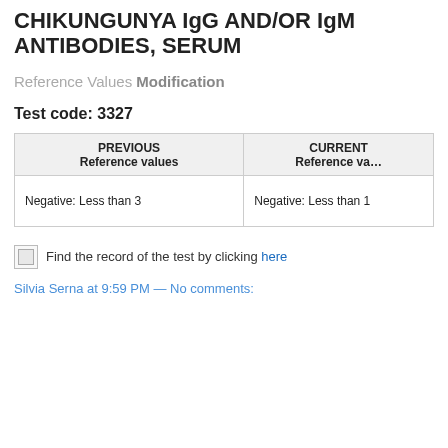CHIKUNGUNYA IgG AND/OR IgM ANTIBODIES, SERUM
Reference Values Modification
Test code: 3327
| PREVIOUS
Reference values | CURRENT
Reference va… |
| --- | --- |
| Negative: Less than 3 | Negative: Less than 1 |
Find the record of the test by clicking here
Silvia Serna at 9:59 PM — No comments: